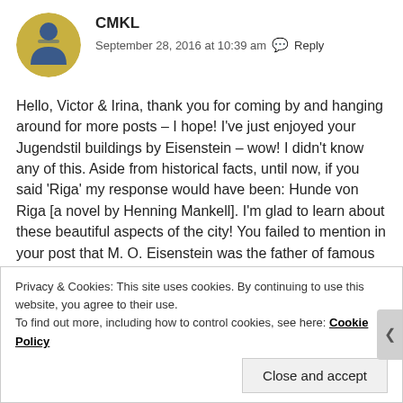[Figure (photo): Circular avatar image with a yellow/gold background showing a stylized blue figure, used as a comment profile picture for user CMKL]
CMKL
September 28, 2016 at 10:39 am  Reply
Hello, Victor & Irina, thank you for coming by and hanging around for more posts – I hope! I've just enjoyed your Jugendstil buildings by Eisenstein – wow! I didn't know any of this. Aside from historical facts, until now, if you said 'Riga' my response would have been: Hunde von Riga [a novel by Henning Mankell]. I'm glad to learn about these beautiful aspects of the city! You failed to mention in your post that M. O. Eisenstein was the father of famous film director Sergei Mikhailovich Eisenstein. Such an unhappy family!! I'm looking forward reading more of your post.
Privacy & Cookies: This site uses cookies. By continuing to use this website, you agree to their use.
To find out more, including how to control cookies, see here: Cookie Policy
Close and accept